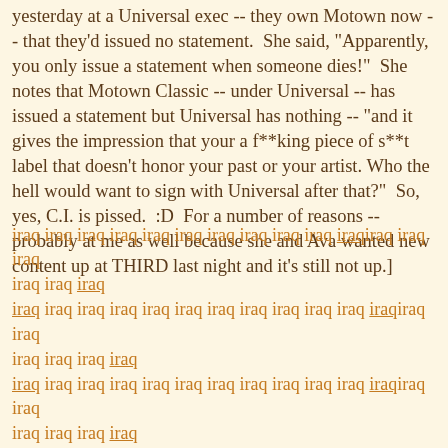yesterday at a Universal exec -- they own Motown now -- that they'd issued no statement.  She said, "Apparently, you only issue a statement when someone dies!"  She notes that Motown Classic -- under Universal -- has issued a statement but Universal has nothing -- "and it gives the impression that your a f**king piece of s**t label that doesn't honor your past or your artist. Who the hell would want to sign with Universal after that?"  So, yes, C.I. is pissed.  :D  For a number of reasons -- probably at me as well because she and Ava wanted new content up at THIRD last night and it's still not up.]
iraq iraq iraq iraq iraq iraq iraq iraq iraq iraq iraqiraq iraq iraq iraq iraq iraq
iraq iraq iraq iraq iraq iraq iraq iraq iraq iraq iraq iraqiraq iraq iraq iraq iraq iraq
iraq iraq iraq iraq iraq iraq iraq iraq iraq iraq iraq iraqiraq iraq iraq